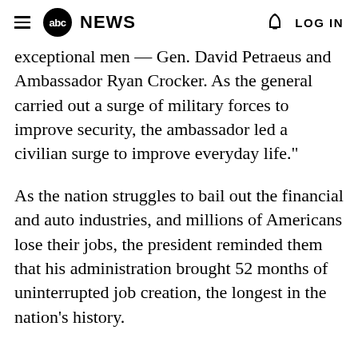abc NEWS  LOG IN
exceptional men — Gen. David Petraeus and Ambassador Ryan Crocker. As the general carried out a surge of military forces to improve security, the ambassador led a civilian surge to improve everyday life."
As the nation struggles to bail out the financial and auto industries, and millions of Americans lose their jobs, the president reminded them that his administration brought 52 months of uninterrupted job creation, the longest in the nation's history.